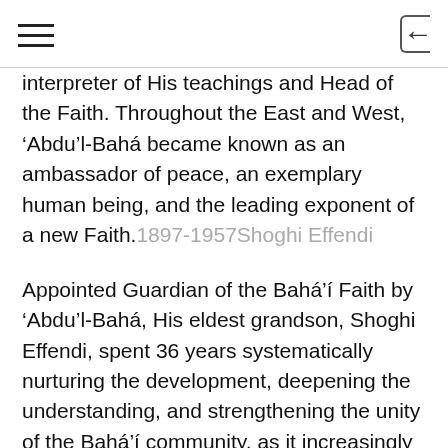[hamburger menu] [back icon]
interpreter of His teachings and Head of the Faith. Throughout the East and West, 'Abdu'l-Bahá became known as an ambassador of peace, an exemplary human being, and the leading exponent of a new Faith.1897-1957Shoghi Effendi
Appointed Guardian of the Bahá'í Faith by 'Abdu'l-Bahá, His eldest grandson, Shoghi Effendi, spent 36 years systematically nurturing the development, deepening the understanding, and strengthening the unity of the Bahá'í community, as it increasingly grew to reflect the diversity of the entire